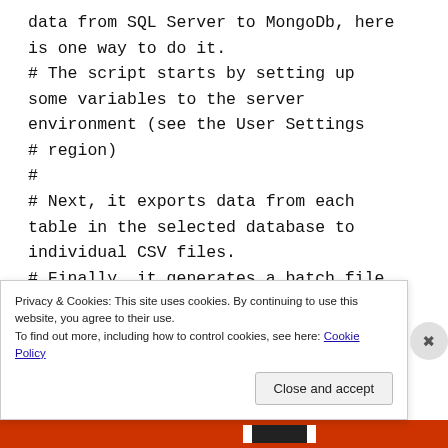data from SQL Server to MongoDb, here is one way to do it.
# The script starts by setting up some variables to the server environment (see the User Settings # region)
#
# Next, it exports data from each table in the selected database to individual CSV files.
# Finally, it generates a batch file
Privacy & Cookies: This site uses cookies. By continuing to use this website, you agree to their use.
To find out more, including how to control cookies, see here: Cookie Policy